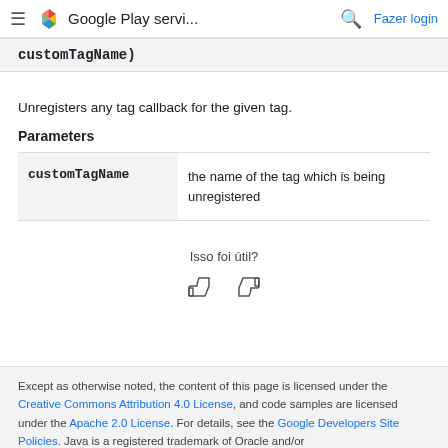Google Play servi... — Fazer login
customTagName)
Unregisters any tag callback for the given tag.
Parameters
| customTagName | the name of the tag which is being unregistered |
| --- | --- |
Isso foi útil?
Except as otherwise noted, the content of this page is licensed under the Creative Commons Attribution 4.0 License, and code samples are licensed under the Apache 2.0 License. For details, see the Google Developers Site Policies. Java is a registered trademark of Oracle and/or